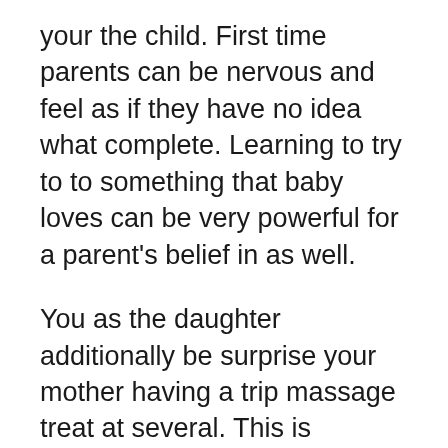your the child. First time parents can be nervous and feel as if they have no idea what complete. Learning to try to to something that baby loves can be very powerful for a parent's belief in as well.
You as the daughter additionally be surprise your mother having a trip massage treat at several. This is whether you are living together or are seeing one for in the beginning after a long. You can confident to they will appreciate the thought and will leave the spa center feeling great.
Instead of going towards movies, why not watch the big game together at home? It could become the perfect DVD or tape, a trip to the rental store, pay-per-view, or When